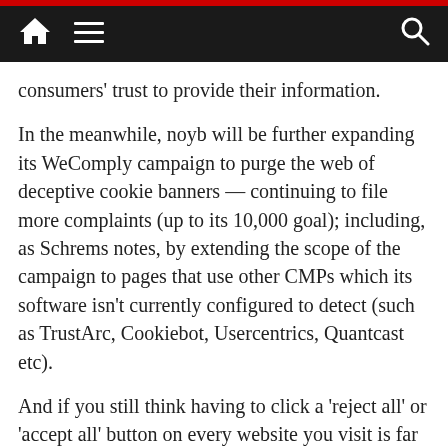Navigation bar with home, menu, and search icons
consumers’ trust to provide their information.
In the meanwhile, noyb will be further expanding its WeComply campaign to purge the web of deceptive cookie banners — continuing to file more complaints (up to its 10,000 goal); including, as Schrems notes, by extending the scope of the campaign to pages that use other CMPs which its software isn’t currently configured to detect (such as TrustArc, Cookiebot, Usercentrics, Quantcast etc).
And if you still think having to click a ‘reject all’ or ‘accept all’ button on every website you visit is far too tedious, noyb has previously suggested a techie fix for that: An advanced browser level control to express user-configured choices. It just needs EU